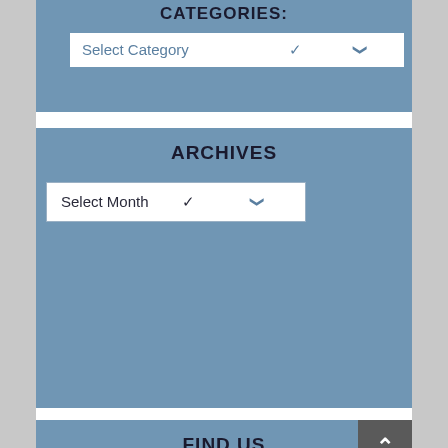CATEGORIES:
Select Category
ARCHIVES
Select Month
FIND US
[Figure (illustration): Social media icon circles: Facebook (blue), Instagram (brown/orange), Twitter (teal), Pinterest (salmon/orange), YouTube (pink/red)]